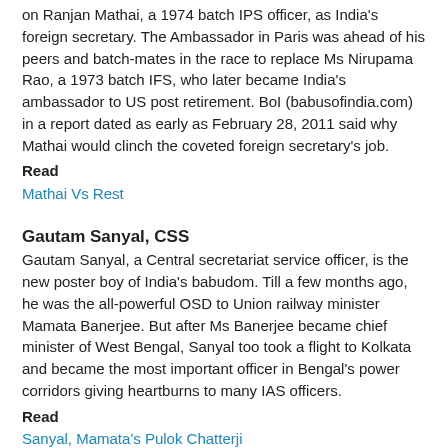on Ranjan Mathai, a 1974 batch IPS officer, as India's foreign secretary. The Ambassador in Paris was ahead of his peers and batch-mates in the race to replace Ms Nirupama Rao, a 1973 batch IFS, who later became India's ambassador to US post retirement. BoI (babusofindia.com) in a report dated as early as February 28, 2011 said why Mathai would clinch the coveted foreign secretary's job.
Read
Mathai Vs Rest
Gautam Sanyal, CSS
Gautam Sanyal, a Central secretariat service officer, is the new poster boy of India's babudom. Till a few months ago, he was the all-powerful OSD to Union railway minister Mamata Banerjee. But after Ms Banerjee became chief minister of West Bengal, Sanyal too took a flight to Kolkata and became the most important officer in Bengal's power corridors giving heartburns to many IAS officers.
Read
Sanyal, Mamata's Pulok Chatterji
Sanjiv Bhatt, IPS
If Sanjiv Bhatt is indeed a 1988 batch IPS officer of the Gujarat...